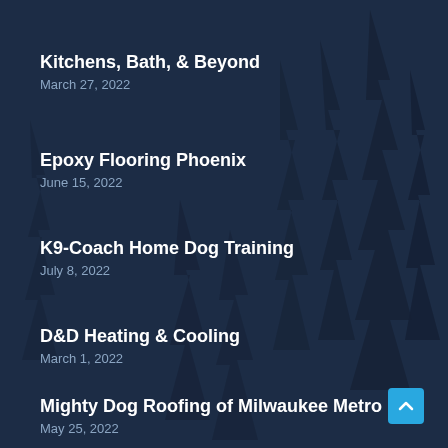Kitchens, Bath, & Beyond
March 27, 2022
Epoxy Flooring Phoenix
June 15, 2022
K9-Coach Home Dog Training
July 8, 2022
D&D Heating & Cooling
March 1, 2022
Mighty Dog Roofing of Milwaukee Metro
May 25, 2022